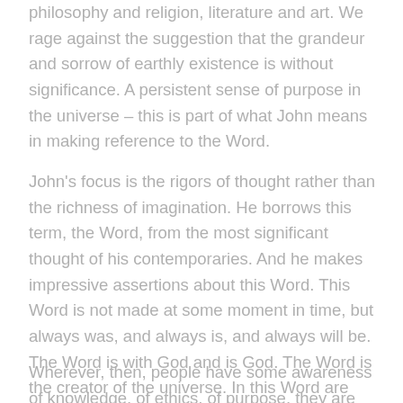philosophy and religion, literature and art. We rage against the suggestion that the grandeur and sorrow of earthly existence is without significance. A persistent sense of purpose in the universe – this is part of what John means in making reference to the Word.
John's focus is the rigors of thought rather than the richness of imagination. He borrows this term, the Word, from the most significant thought of his contemporaries. And he makes impressive assertions about this Word. This Word is not made at some moment in time, but always was, and always is, and always will be. The Word is with God and is God. The Word is the creator of the universe. In this Word are both life and light.
Wherever, then, people have some awareness of knowledge, of ethics, of purpose, they are enlightened by